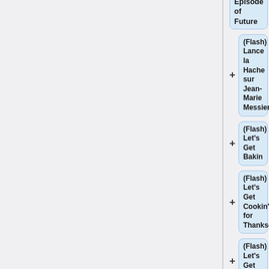Episode of Future
(Flash) Lance la Hache sur Jean-Marie Messier
(Flash) Let's Get Bakin
(Flash) Let's Get Cookin' for Thanksgivin'
(Flash) Let's Get Grillin'
(Flash) Letters from Nowhere 2
(Flash) Lost in Reefs
(Flash) Lucy's Expedition